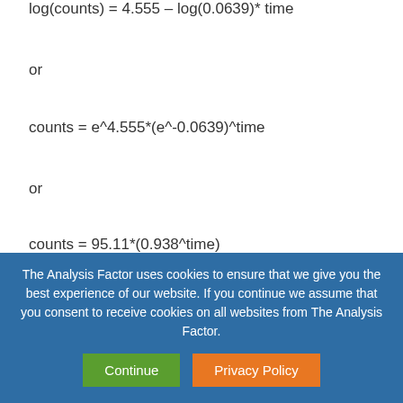or
or
The Analysis Factor uses cookies to ensure that we give you the best experience of our website. If you continue we assume that you consent to receive cookies on all websites from The Analysis Factor.